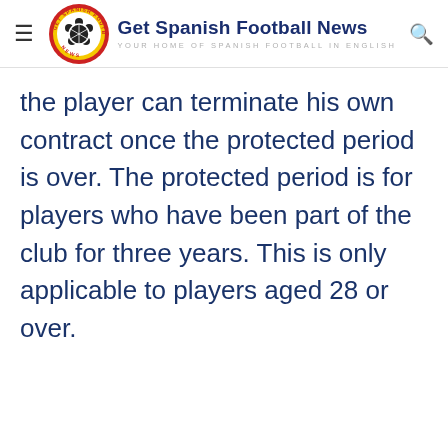Get Spanish Football News — YOUR HOME OF SPANISH FOOTBALL IN ENGLISH
the player can terminate his own contract once the protected period is over. The protected period is for players who have been part of the club for three years. This is only applicable to players aged 28 or over.